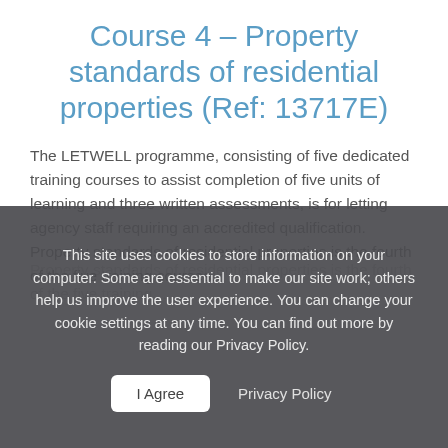Course 4 – Property standards of residential properties (Ref: 13717E)
The LETWELL programme, consisting of five dedicated training courses to assist completion of five units of learning and three written assessments, is for letting agency staff requiring an accredited qualification. Property standards of residential properties is the fourth of the five training courses.
This site uses cookies to store information on your computer. Some are essential to make our site work; others help us improve the user experience. You can change your cookie settings at any time. You can find out more by reading our Privacy Policy.